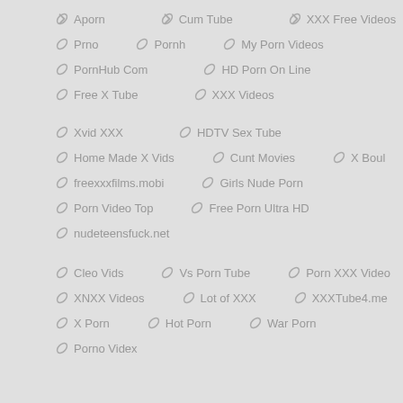Aporn
Cum Tube
XXX Free Videos
Prno
Pornh
My Porn Videos
PornHub Com
HD Porn On Line
Free X Tube
XXX Videos
Xvid XXX
HDTV Sex Tube
Home Made X Vids
Cunt Movies
X Boul
freexxxfilms.mobi
Girls Nude Porn
Porn Video Top
Free Porn Ultra HD
nudeteensfuck.net
Cleo Vids
Vs Porn Tube
Porn XXX Video
XNXX Videos
Lot of XXX
XXXTube4.me
X Porn
Hot Porn
War Porn
Porno Videx